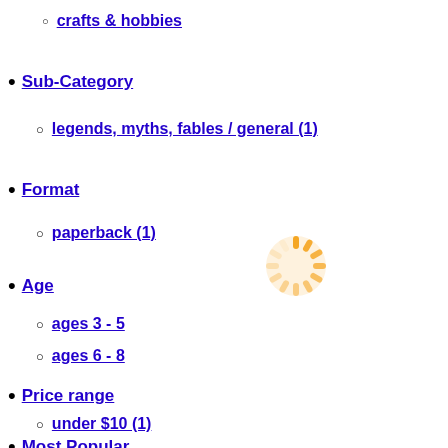crafts & hobbies
Sub-Category
legends, myths, fables / general (1)
Format
paperback (1)
Age
ages 3 - 5
ages 6 - 8
Price range
under $10 (1)
Most Popular
[Figure (illustration): Orange loading spinner icon]